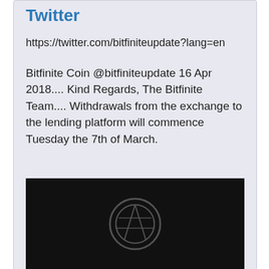Twitter
https://twitter.com/bitfiniteupdate?lang=en
Bitfinite Coin @bitfiniteupdate 16 Apr 2018.... Kind Regards, The Bitfinite Team.... Withdrawals from the exchange to the lending platform will commence Tuesday the 7th of March.
[Figure (screenshot): Black image with WordPress logo watermark centered]